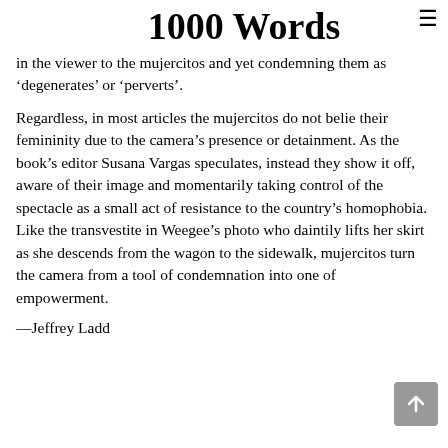1000 Words
in the viewer to the mujercitos and yet condemning them as ‘degenerates’ or ‘perverts’.
Regardless, in most articles the mujercitos do not belie their femininity due to the camera’s presence or detainment. As the book’s editor Susana Vargas speculates, instead they show it off, aware of their image and momentarily taking control of the spectacle as a small act of resistance to the country’s homophobia. Like the transvestite in Weegee’s photo who daintily lifts her skirt as she descends from the wagon to the sidewalk, mujercitos turn the camera from a tool of condemnation into one of empowerment.
—Jeffrey Ladd